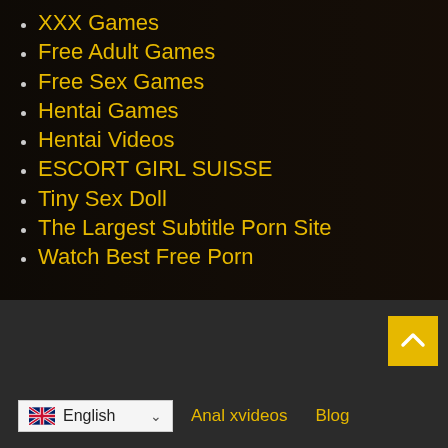XXX Games
Free Adult Games
Free Sex Games
Hentai Games
Hentai Videos
ESCORT GIRL SUISSE
Tiny Sex Doll
The Largest Subtitle Porn Site
Watch Best Free Porn
[Figure (screenshot): Background image of a dark bedroom scene]
XVIDEOUSA
English
Anal xvideos
Blog